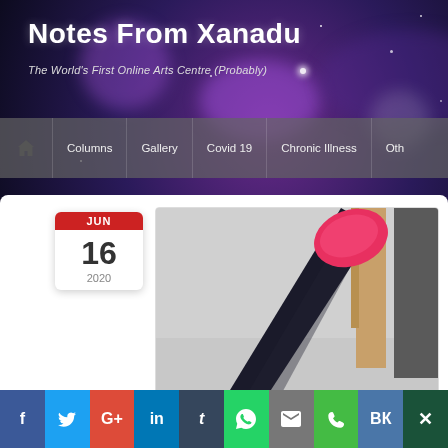Notes From Xanadu
The World's First Online Arts Centre (Probably)
Home | Columns | Gallery | Covid 19 | Chronic Illness | Oth...
[Figure (photo): A leg wearing a black compression stocking with a red/pink sock at the toe, photographed from below at floor level, with wooden furniture visible in the background]
f | Twitter | G+ | in | t | WhatsApp | email | phone | VK | X